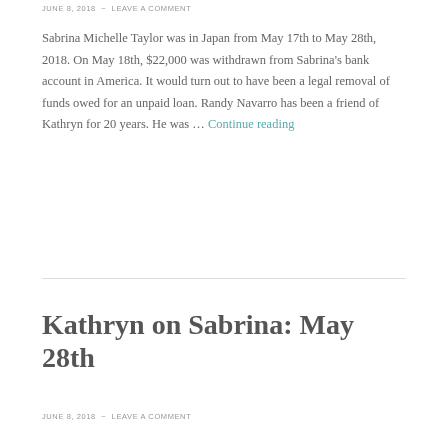JUNE 8, 2018 ~ LEAVE A COMMENT
Sabrina Michelle Taylor was in Japan from May 17th to May 28th, 2018. On May 18th, $22,000 was withdrawn from Sabrina's bank account in America. It would turn out to have been a legal removal of funds owed for an unpaid loan. Randy Navarro has been a friend of Kathryn for 20 years. He was … Continue reading
Kathryn on Sabrina: May 28th
JUNE 8, 2018 ~ LEAVE A COMMENT